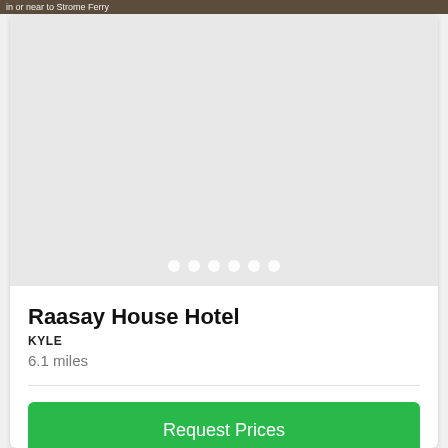in or near to Strome Ferry
[Figure (photo): Hotel exterior photo area (image not loaded, gray placeholder) with 6 navigation dots at bottom]
Raasay House Hotel
KYLE
6.1 miles
Request Prices